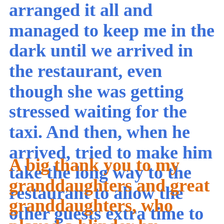arranged it all and managed to keep me in the dark until we arrived in the restaurant, even though she was getting stressed waiting for the taxi. And then, when he arrived, tried to make him take the long way to the restaurant to allow the other guests extra time to arrive.
A big thank you to my granddaughters and great granddaughters, who played a blinder by coming and visiting me just a couple of hours